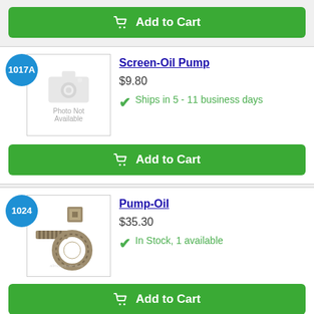[Figure (other): Green Add to Cart button with shopping cart icon at top of page]
[Figure (other): Product listing for Screen-Oil Pump, item 1017A, $9.80, ships in 5-11 business days, photo not available placeholder image]
Screen-Oil Pump
$9.80
Ships in 5 - 11 business days
[Figure (other): Green Add to Cart button with shopping cart icon]
[Figure (photo): Product listing for Pump-Oil, item 1024, $35.30, In Stock 1 available, showing photo of metal pump oil parts including a ribbed shaft, square fitting, and ring gear]
Pump-Oil
$35.30
In Stock, 1 available
[Figure (other): Green Add to Cart button with shopping cart icon at bottom]